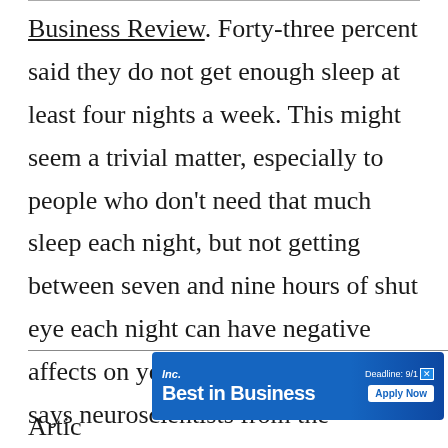Business Review. Forty-three percent said they do not get enough sleep at least four nights a week. This might seem a trivial matter, especially to people who don't need that much sleep each night, but not getting between seven and nine hours of shut eye each night can have negative affects on your leadership ability, says neuroscientists from the University of Pennsylvania School of Medicine.
[Figure (other): Inc. Best in Business advertisement banner with blue background, showing 'Inc.' logo, 'Best in Business' text in white bold font, 'Deadline: 9/1' and 'Apply Now' button]
Artic